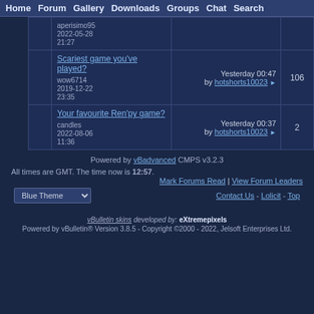Home | Forum | Gallery | Downloads | Groups | Chat | Search
|  | Topic | Last Post | Count |
| --- | --- | --- | --- |
|  | aperisimo95
2022-05-28 21:27 | by [last poster] |  |
|  | Scariest game you've played?
wow6714
2019-12-22 23:35 | Yesterday 00:47
by hotshorts10023 | 106 |
|  | Your favourite Ren'py game?
candles
2022-08-06 11:36 | Yesterday 00:37
by hotshorts10023 | 2 |
Powered by vBadvanced CMPS v3.2.3
All times are GMT. The time now is 12:57.
Mark Forums Read | View Forum Leaders
Blue Theme (dropdown)
Contact Us - Lolicit - Top
vBulletin skins developed by: eXtremepixels
Powered by vBulletin® Version 3.8.5 - Copyright ©2000 - 2022, Jelsoft Enterprises Ltd.